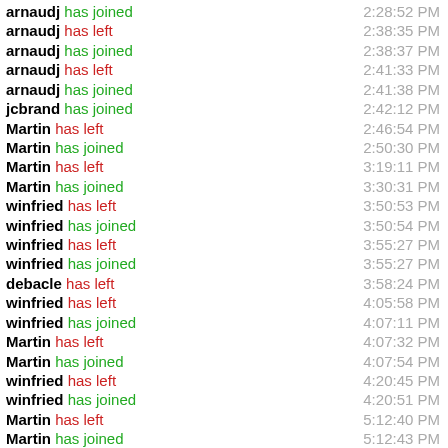arnaudj has joined  2:28:52 PM
arnaudj has left  2:38:35 PM
arnaudj has joined  2:38:37 PM
arnaudj has left  2:41:33 PM
arnaudj has joined  2:41:38 PM
jcbrand has joined  2:42:12 PM
Martin has left  2:46:54 PM
Martin has joined  2:50:30 PM
Martin has left  3:19:11 PM
Martin has joined  3:30:31 PM
winfried has left  3:50:53 PM
winfried has joined  3:50:54 PM
winfried has left  3:55:27 PM
winfried has joined  3:55:27 PM
debacle has left  3:58:24 PM
winfried has left  4:05:58 PM
winfried has joined  4:07:11 PM
Martin has left  4:07:32 PM
Martin has joined  4:07:54 PM
winfried has left  4:20:45 PM
winfried has joined  4:20:51 PM
Martin has left  5:12:40 PM
Martin has joined  5:12:43 PM
debacle has joined  5:27:11 PM
LNJ has left  6:23:37 PM